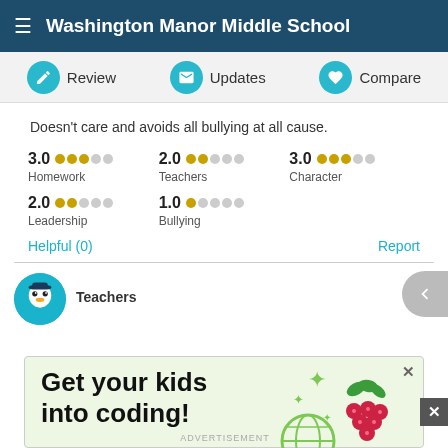Washington Manor Middle School
Review  Updates  Compare
Doesn't care and avoids all bullying at all cause.
3.0 Homework  2.0 Teachers  3.0 Character  2.0 Leadership  1.0 Bullying
Helpful (0)   Report
Teachers
[Figure (screenshot): Advertisement banner: 'Get your kids into coding!' with raspberry pi logo and coding icons on light green background]